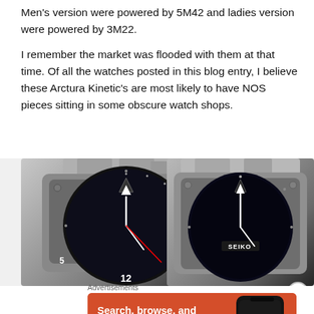Men's version were powered by 5M42 and ladies version were powered by 3M22.
I remember the market was flooded with them at that time. Of all the watches posted in this blog entry, I believe these Arctura Kinetic's are most likely to have NOS pieces sitting in some obscure watch shops.
[Figure (photo): Two Seiko Arctura Kinetic watches shown from the top/dial angle. Left watch shows a black dial with triangle marker, '12' numeral, red seconds hand, and metallic bracelet. Right watch shows a dark dial with SEIKO text and similar angular case design with metallic bracelet.]
Advertisements
[Figure (other): DuckDuckGo advertisement banner with orange background. Text reads: Search, browse, and email with more privacy. All in One Free App. Shows a smartphone with DuckDuckGo logo.]